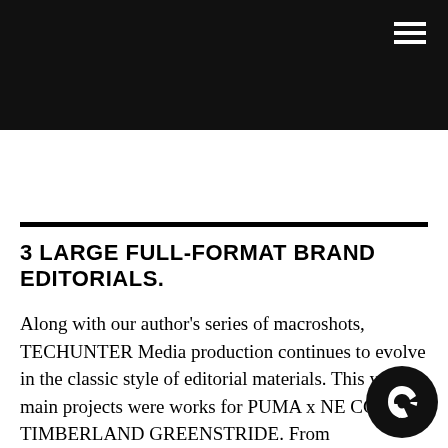[Figure (photo): Dark black header banner with hamburger menu icon in top-right corner]
3 LARGE FULL-FORMAT BRAND EDITORIALS.
Along with our author's series of macroshots, TECHUNTER Media production continues to evolve in the classic style of editorial materials. This y... our main projects were works for PUMA x NE... CCP, and TIMBERLAND GREENSTRIDE. From